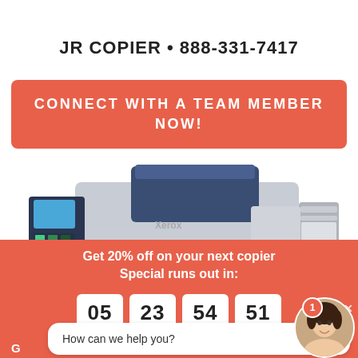[Figure (logo): JR Copier logo stripe with red and white diagonal stripes, top right corner]
JR COPIER • 888-331-7417
CONNECT WITH A TEAM MEMBER NOW!
[Figure (photo): Large professional office copier/printer machine, dark blue and white/silver, with control panel on left side]
Get 20% off on your next copier Special runs out in:
05  23  54  51
How can we help you?